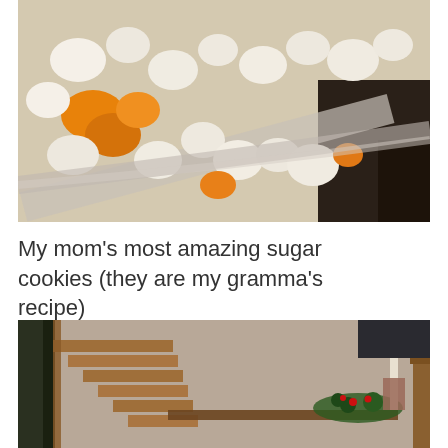[Figure (photo): Close-up photo of popcorn in a plastic container, with some caramel-colored pieces visible among white popped kernels]
My mom’s most amazing sugar cookies (they are my gramma’s recipe)
[Figure (photo): Photo of a living room interior showing wooden stairs, a coffee table with a Christmas floral arrangement and candle holder, and wooden furniture]